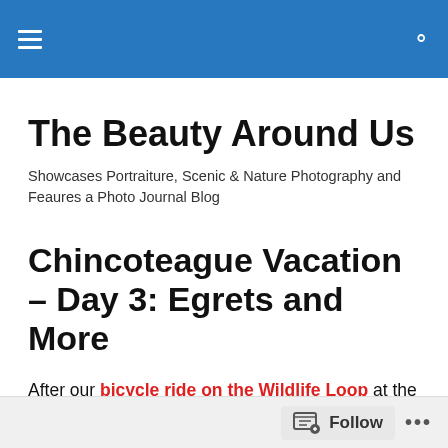The Beauty Around Us
The Beauty Around Us
Showcases Portraiture, Scenic & Nature Photography and Feaures a Photo Journal Blog
Chincoteague Vacation – Day 3: Egrets and More
After our bicycle ride on the Wildlife Loop at the Chincoteague National Wildlife Refuge, we went for a drive along Beach Access Road, stopping for wildlife photo opportunities.
Follow